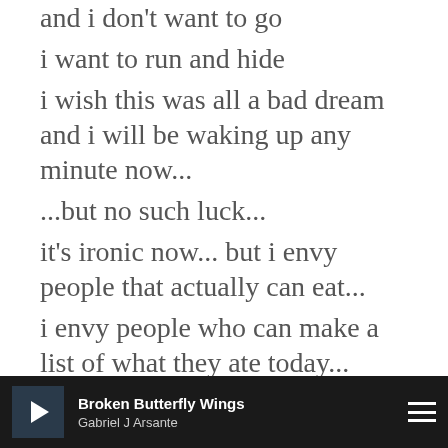and i don't want to go
i want to run and hide
i wish this was all a bad dream and i will be waking up any minute now...
...but no such luck...
it's ironic now... but i envy people that actually can eat...
i envy people who can make a list of what they ate today...
me nothing... no i lied... 3 pieces of Cheerios... 3 days ago... aint that
Broken Butterfly Wings — Gabriel J Arsante